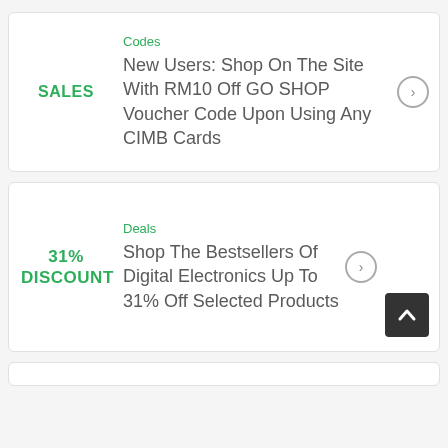SALES
Codes
New Users: Shop On The Site With RM10 Off GO SHOP Voucher Code Upon Using Any CIMB Cards
31% DISCOUNT
Deals
Shop The Bestsellers Of Digital Electronics Up To 31% Off Selected Products